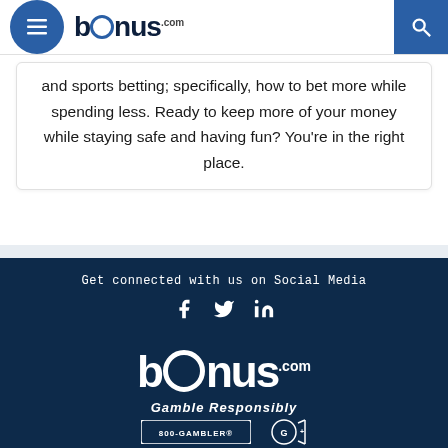[Figure (logo): bonus.com logo with circular hamburger menu icon and search icon in header]
and sports betting; specifically, how to bet more while spending less. Ready to keep more of your money while staying safe and having fun? You're in the right place.
Get connected with us on Social Media
[Figure (illustration): Social media icons: Facebook, Twitter, LinkedIn in white on dark blue background]
[Figure (logo): bonus.com logo in white on dark navy background]
Gamble Responsibly
[Figure (illustration): 800 GAMBLER and other responsible gambling logos at bottom]